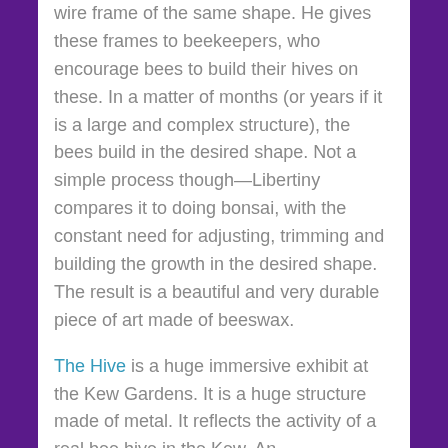wire frame of the same shape. He gives these frames to beekeepers, who encourage bees to build their hives on these. In a matter of months (or years if it is a large and complex structure), the bees build in the desired shape. Not a simple process though—Libertiny compares it to doing bonsai, with the constant need for adjusting, trimming and building the growth in the desired shape. The result is a beautiful and very durable piece of art made of beeswax.
The Hive is a huge immersive exhibit at the Kew Gardens. It is a huge structure made of metal. It reflects the activity of a real bee hive in the Kew. An accelerometer (a device which detects vibrations) is placed in the real hive. It picks up the vibrations of the bees and transmits them to